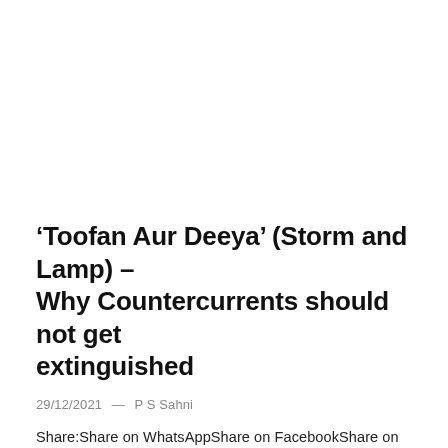'Toofan Aur Deeya' (Storm and Lamp) – Why Countercurrents should not get extinguished
29/12/2021  —  P S Sahni
Share:Share on WhatsAppShare on FacebookShare on TwitterShare on TelegramShare on RedditShare on Email Binu Mathew, the editor of Countercurrents.org and the editorial team have been working selflessly with minimal funds and accepting no advertisements. Besides CC